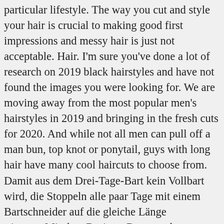particular lifestyle. The way you cut and style your hair is crucial to making good first impressions and messy hair is just not acceptable. Hair. I'm sure you've done a lot of research on 2019 black hairstyles and have not found the images you were looking for. We are moving away from the most popular men's hairstyles in 2019 and bringing in the fresh cuts for 2020. And while not all men can pull off a man bun, top knot or ponytail, guys with long hair have many cool haircuts to choose from. Damit aus dem Drei-Tage-Bart kein Vollbart wird, die Stoppeln alle paar Tage mit einem Bartschneider auf die gleiche Länge trimmen.Mit dem Rasierer Dann noch zusätzlich die Konturen an Hals und Wangen säubern. The end result is a good look that is sharp and fresh for the office. So how exactly do you know which hairstyle is right for you? While some fortunate men may have the capacity to shake a man bun or best bunch in the … Source 29. Sharp and